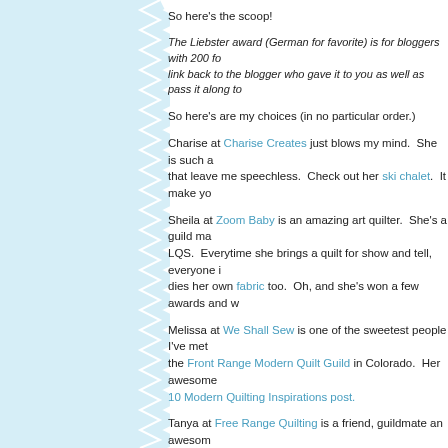So here's the scoop!
The Liebster award (German for favorite) is for bloggers with 200 fo... link back to the blogger who gave it to you as well as pass it along to
So here's are my choices (in no particular order.)
Charise at Charise Creates just blows my mind. She is such a... that leave me speechless. Check out her ski chalet. It make yo
Sheila at Zoom Baby is an amazing art quilter. She's a guild ma... LQS. Everytime she brings a quilt for show and tell, everyone i... dies her own fabric too. Oh, and she's won a few awards and w
Melissa at We Shall Sew is one of the sweetest people I've met... the Front Range Modern Quilt Guild in Colorado. Her awesome... 10 Modern Quilting Inspirations post.
Tanya at Free Range Quilting is a friend, guildmate an awesome... did for Maria (M Press Blog - mentioned next). I highly covet ea
Maria at M Press Blog is one of my BFF's in real life. I met her... nominated graphic designer who loves to do a little letter press... but reconnected through facebook. We've been inseperable ev